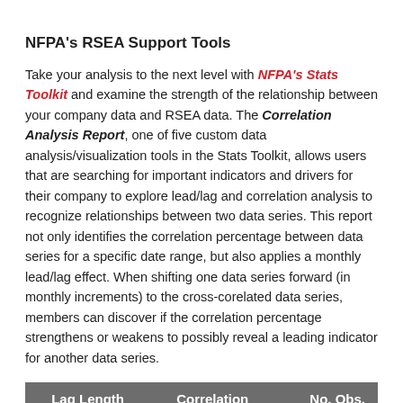NFPA's RSEA Support Tools
Take your analysis to the next level with NFPA's Stats Toolkit and examine the strength of the relationship between your company data and RSEA data. The Correlation Analysis Report, one of five custom data analysis/visualization tools in the Stats Toolkit, allows users that are searching for important indicators and drivers for their company to explore lead/lag and correlation analysis to recognize relationships between two data series. This report not only identifies the correlation percentage between data series for a specific date range, but also applies a monthly lead/lag effect. When shifting one data series forward (in monthly increments) to the cross-corelated data series, members can discover if the correlation percentage strengthens or weakens to possibly reveal a leading indicator for another data series.
| Lag Length | Correlation | No. Obs. |
| --- | --- | --- |
| 0 | 96.2% | 104 |